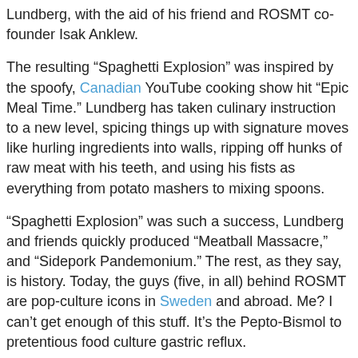Lundberg, with the aid of his friend and ROSMT co-founder Isak Anklew.
The resulting “Spaghetti Explosion” was inspired by the spoofy, Canadian YouTube cooking show hit “Epic Meal Time.” Lundberg has taken culinary instruction to a new level, spicing things up with signature moves like hurling ingredients into walls, ripping off hunks of raw meat with his teeth, and using his fists as everything from potato mashers to mixing spoons.
“Spaghetti Explosion” was such a success, Lundberg and friends quickly produced “Meatball Massacre,” and “Sidepork Pandemonium.” The rest, as they say, is history. Today, the guys (five, in all) behind ROSMT are pop-culture icons in Sweden and abroad. Me? I can’t get enough of this stuff. It’s the Pepto-Bismol to pretentious food culture gastric reflux.
Below, I present to you the “Chop Chop Carnage Stew (Alternative Pyttipanna)” episode. Pyttipanna is a Swedish specialty consisting of potatoes, onion, and meat, with the